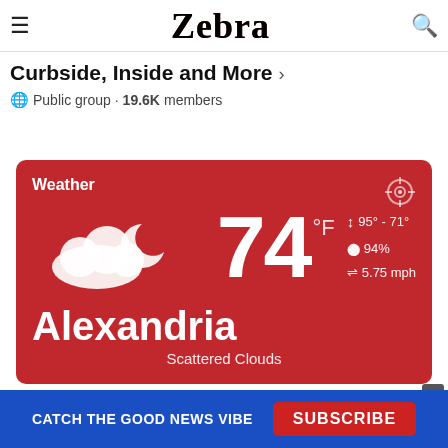Zebra
Curbside, Inside and More
Public group · 19.6K members
[Figure (infographic): Weather widget showing 74°F, Scattered Clouds, Alexandria. Details: 95°-71°, 94%, 5.75 mph wind.]
CATCH THE GOOD NEWS VIBE  SUBSCRIBE